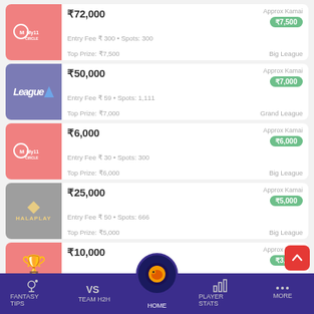₹72,000 | Entry Fee ₹ 300 • Spots: 300 | Top Prize: ₹7,500 | Big League | Approx Kamai ₹7,500
₹50,000 | Entry Fee ₹ 59 • Spots: 1,111 | Top Prize: ₹7,000 | Grand League | Approx Kamai ₹7,000
₹6,000 | Entry Fee ₹ 30 • Spots: 300 | Top Prize: ₹6,000 | Big League | Approx Kamai ₹6,000
₹25,000 | Entry Fee ₹ 50 • Spots: 666 | Top Prize: ₹5,000 | Big League | Approx Kamai ₹5,000
₹10,000 | Entry Fee ₹ 244 • Spots: 52 | Approx Kamai ₹3,000
FANTASY TIPS | TEAM H2H | HOME | PLAYER STATS | MORE